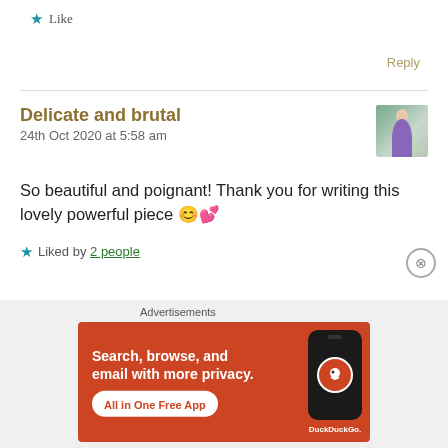★ Like
Reply
Delicate and brutal
24th Oct 2020 at 5:58 am
So beautiful and poignant! Thank you for writing this lovely powerful piece 😊💕
★ Liked by 2 people
[Figure (screenshot): DuckDuckGo advertisement banner: orange background with text 'Search, browse, and email with more privacy. All in One Free App' and a phone graphic with DuckDuckGo logo]